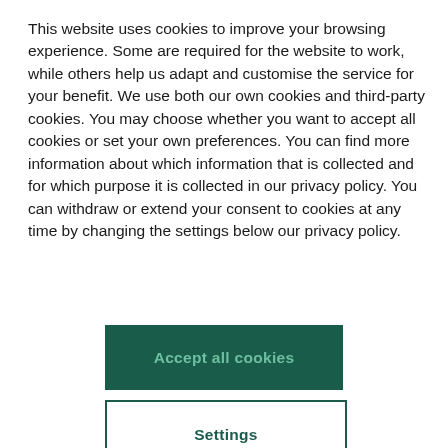This website uses cookies to improve your browsing experience. Some are required for the website to work, while others help us adapt and customise the service for your benefit. We use both our own cookies and third-party cookies. You may choose whether you want to accept all cookies or set your own preferences. You can find more information about which information that is collected and for which purpose it is collected in our privacy policy. You can withdraw or extend your consent to cookies at any time by changing the settings below our privacy policy.
Accept all cookies
Settings
typically be a contract with you or legal basis in the law instructing us to provide out the information. Maskan Industries ASA uses data processors to